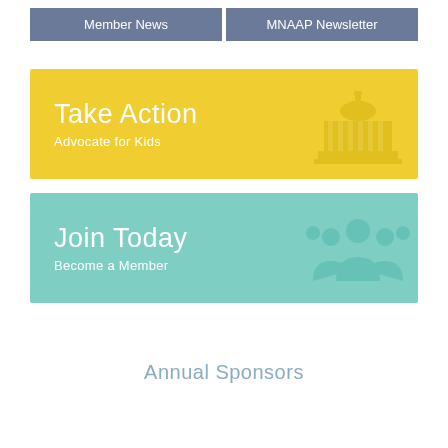Member News | MNAAP Newsletter
[Figure (infographic): Yellow banner with 'Take Action / Advocate for Kids' text and capitol building icon]
[Figure (infographic): Teal banner with 'Join Today / Become a Member' text and group of people icon]
Annual Sponsors